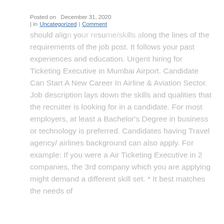Posted on  December 31, 2020
| in Uncategorized  |  Comment should align your resume/skills along the lines of the requirements of the job post. It follows your past experiences and education. Urgent hiring for Ticketing Executive in Mumbai Airport. Candidate Can Start A New Career In Airline & Aviation Sector. Job description lays down the skills and qualities that the recruiter is looking for in a candidate. For most employers, at least a Bachelor's Degree in business or technology is preferred. Candidates having Travel agency/ airlines background can also apply. For example: If you were a Air Ticketing Executive in 2 companies, the 3rd company which you are applying might demand a different skill set. * It best matches the needs of